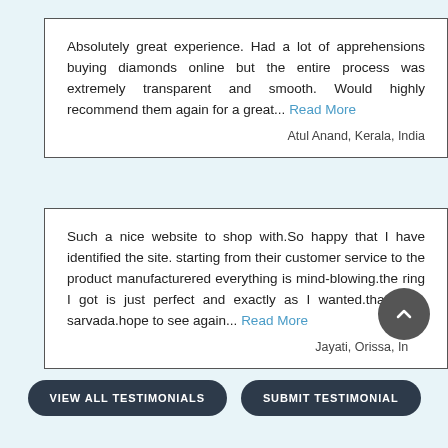Absolutely great experience. Had a lot of apprehensions buying diamonds online but the entire process was extremely transparent and smooth. Would highly recommend them again for a great... Read More
Atul Anand, Kerala, India
Such a nice website to shop with.So happy that I have identified the site. starting from their customer service to the product manufacturered everything is mind-blowing.the ring I got is just perfect and exactly as I wanted.thanks to sarvada.hope to see again... Read More
Jayati, Orissa, India
VIEW ALL TESTIMONIALS
SUBMIT TESTIMONIAL